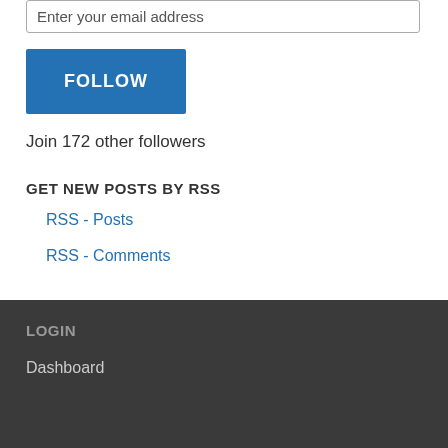Enter your email address
FOLLOW
Join 172 other followers
GET NEW POSTS BY RSS
RSS - Posts
RSS - Comments
LOGIN
Dashboard